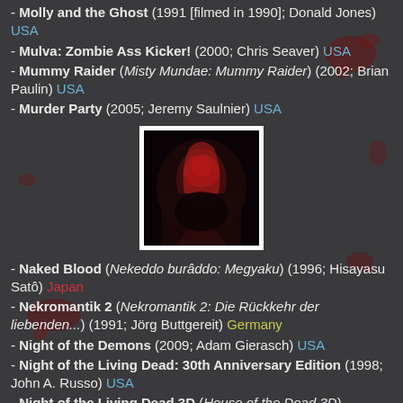- Molly and the Ghost (1991 [filmed in 1990]; Donald Jones) USA
- Mulva: Zombie Ass Kicker! (2000; Chris Seaver) USA
- Mummy Raider (Misty Mundae: Mummy Raider) (2002; Brian Paulin) USA
- Murder Party (2005; Jeremy Saulnier) USA
[Figure (photo): Dark horror image showing a figure illuminated in red light]
- Naked Blood (Nekeddo burâddo: Megyaku) (1996; Hisayasu Satô) Japan
- Nekromantik 2 (Nekromantik 2: Die Rückkehr der liebenden...) (1991; Jörg Buttgereit) Germany
- Night of the Demons (2009; Adam Gierasch) USA
- Night of the Living Dead: 30th Anniversary Edition (1998; John A. Russo) USA
- Night of the Living Dead 3D (House of the Dead 3D) (2006; Jeff Broadstreet) USA